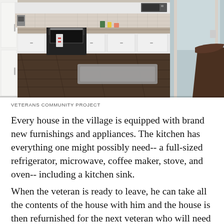[Figure (photo): Interior kitchen photo showing white cabinets, stainless steel stove and oven, refrigerator on left, dark hardwood flooring, gray rug, backsplash tile, and a view through a doorway. Dark leather chair visible on right side.]
VETERANS COMMUNITY PROJECT
Every house in the village is equipped with brand new furnishings and appliances. The kitchen has everything one might possibly need-- a full-sized refrigerator, microwave, coffee maker, stove, and oven-- including a kitchen sink.
When the veteran is ready to leave, he can take all the contents of the house with him and the house is then refurnished for the next veteran who will need the house.